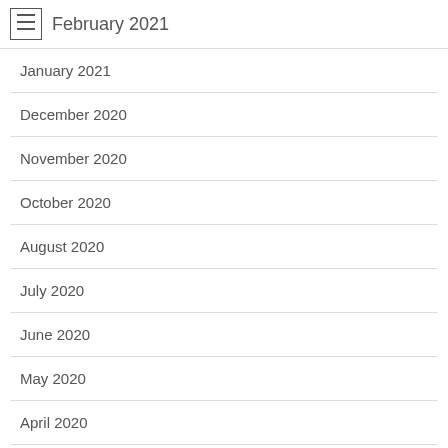February 2021
January 2021
December 2020
November 2020
October 2020
August 2020
July 2020
June 2020
May 2020
April 2020
March 2020